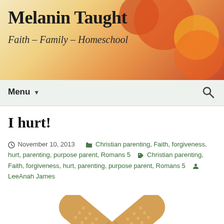Melanin Taught — Faith – Family – Homeschool
I hurt!
November 10, 2013  Christian parenting, Faith, forgiveness, hurt, parenting, purpose parent, Romans 5  Christian parenting, Faith, forgiveness, hurt, parenting, purpose parent, Romans 5  LeeAnah James
[Figure (photo): Two bandages crossed in a heart shape]